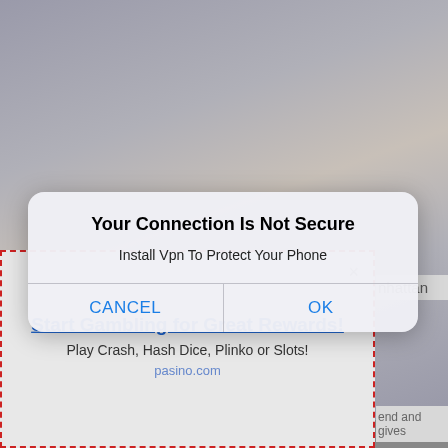[Figure (screenshot): Background photo of two people embracing in a room with framed pictures on the wall, partially obscured by dialog overlays]
[Figure (screenshot): iOS-style security warning dialog box reading 'Your Connection Is Not Secure' with subtitle 'Install Vpn To Protect Your Phone' and CANCEL / OK buttons]
[Figure (screenshot): Advertisement banner with dashed red border containing gambling ad: 'Start Gambling for Great Rewards! Play Crash, Hash Dice, Plinko or Slots! pasino.com' with close X button]